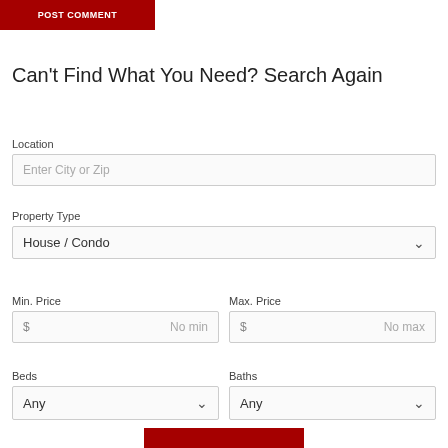[Figure (screenshot): POST COMMENT button in dark red/crimson color with white uppercase text]
Can't Find What You Need? Search Again
Location
Enter City or Zip
Property Type
House / Condo
Min. Price
Max. Price
$ No min
$ No max
Beds
Baths
Any
Any